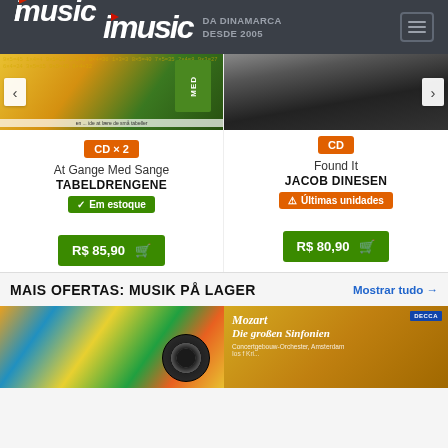imusic DA DINAMARCA DESDE 2005
[Figure (screenshot): Album cover for At Gange Med Sange by Tabeldrengene — math-themed green book cover]
[Figure (screenshot): Album cover for Found It by Jacob Dinesen — black and white moody figure photo]
CD × 2
CD
At Gange Med Sange
TABELDRENGENE
Found It
JACOB DINESEN
Em estoque
Últimas unidades
R$ 85,90
R$ 80,90
MAIS OFERTAS: MUSIK PÅ LAGER
Mostrar tudo →
[Figure (photo): Marbled colorful vinyl record album cover]
[Figure (photo): Mozart Die großen Sinfonien — Concertgebouw-Orchester Amsterdam — Decca label — gold/yellow background]